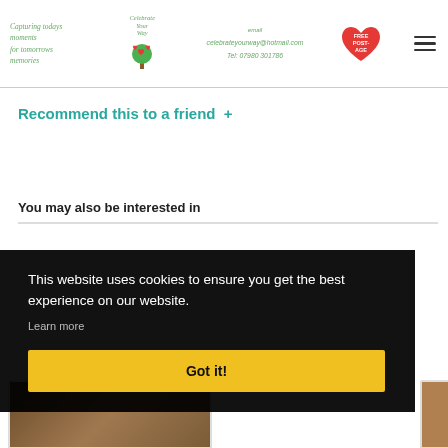[Figure (logo): Celebrate Your Way website header with logo (tree with hearts), tagline 'Capturing todays moments for tomorrows memories', email celebrateyourway@hotmail.com, Tel: 07980 301786, FREE POSTAGE heart badge, and hamburger menu icon]
Recommend this to a friend  +
You may also be interested in
This website uses cookies to ensure you get the best experience on our website.
Learn more
Got it!